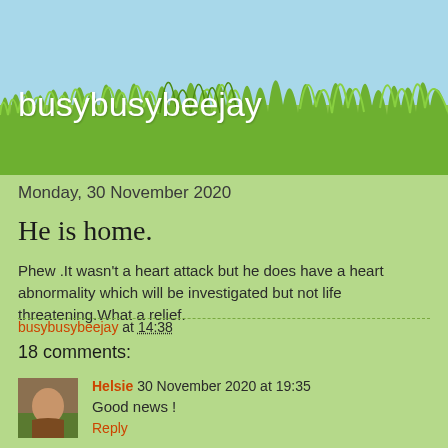[Figure (illustration): Blog header with light blue sky background, green grass silhouette, and white blog title text 'busybusybeejay']
busybusybeejay
Monday, 30 November 2020
He is home.
Phew .It wasn't a heart attack but he does have a heart abnormality which will be investigated but not life threatening.What a relief.
busybusybeejay at 14:38
18 comments:
Helsie 30 November 2020 at 19:35
Good news !
Reply